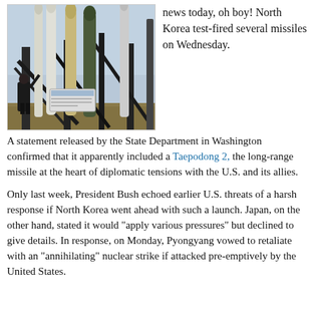[Figure (photo): Photograph of missiles on launch structures in an outdoor display, with a person in black coat looking up at them. Sky is overcast. Dry grass in foreground.]
news today, oh boy! North Korea test-fired several missiles on Wednesday.
A statement released by the State Department in Washington confirmed that it apparently included a Taepodong 2, the long-range missile at the heart of diplomatic tensions with the U.S. and its allies.
Only last week, President Bush echoed earlier U.S. threats of a harsh response if North Korea went ahead with such a launch. Japan, on the other hand, stated it would "apply various pressures" but declined to give details. In response, on Monday, Pyongyang vowed to retaliate with an "annihilating" nuclear strike if attacked pre-emptively by the United States.